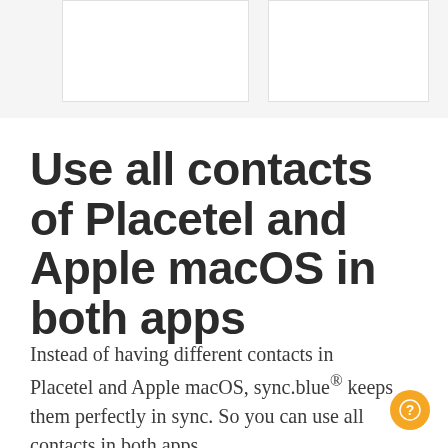[Figure (screenshot): Two white rectangular boxes side by side on a light gray background, representing app screenshots or UI panels at the top of the page.]
Use all contacts of Placetel and Apple macOS in both apps
Instead of having different contacts in Placetel and Apple macOS, sync.blue® keeps them perfectly in sync. So you can use all contacts in both apps.
[Figure (other): Orange circular help/question mark button in the bottom-right corner.]